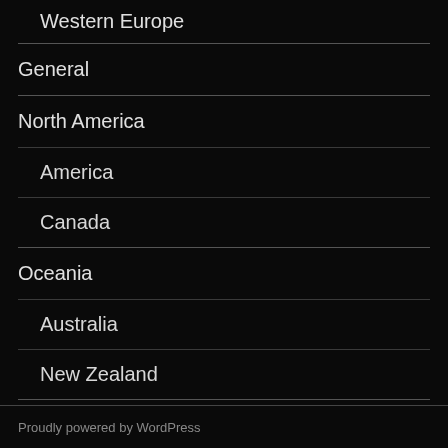Western Europe
General
North America
America
Canada
Oceania
Australia
New Zealand
South America
Travelogue
Proudly powered by WordPress